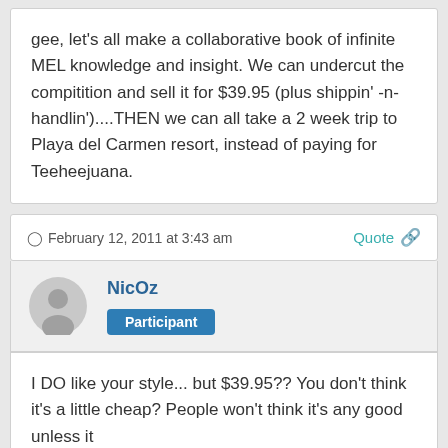gee, let's all make a collaborative book of infinite MEL knowledge and insight.  We can undercut the compitition and sell it for $39.95 (plus shippin' -n- handlin')....THEN we can all take a 2 week trip to Playa del Carmen resort, instead of paying for Teeheejuana.
February 12, 2011 at 3:43 am  Quote
NicOz  Participant
I DO like your style... but $39.95?? You don't think it's a little cheap? People won't think it's any good unless it